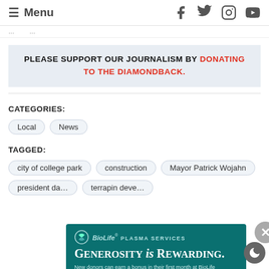≡ Menu
PLEASE SUPPORT OUR JOURNALISM BY DONATING TO THE DIAMONDBACK.
CATEGORIES:
Local
News
TAGGED:
city of college park
construction
Mayor Patrick Wojahn
president da…
terrapin deve…
[Figure (advertisement): BioLife Plasma Services ad: GENEROSITY is REWARDING. New donors can earn a bonus in their first month at BioLife while making a difference for people with rare diseases. www.biolifeplasma.com]